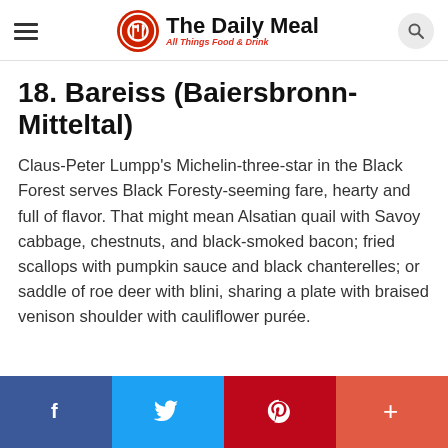The Daily Meal — All Things Food & Drink
18. Bareiss (Baiersbronn-Mitteltal)
Claus-Peter Lumpp's Michelin-three-star in the Black Forest serves Black Foresty-seeming fare, hearty and full of flavor. That might mean Alsatian quail with Savoy cabbage, chestnuts, and black-smoked bacon; fried scallops with pumpkin sauce and black chanterelles; or saddle of roe deer with blini, sharing a plate with braised venison shoulder with cauliflower purée.
Social share buttons: Facebook, Twitter, Pinterest, More